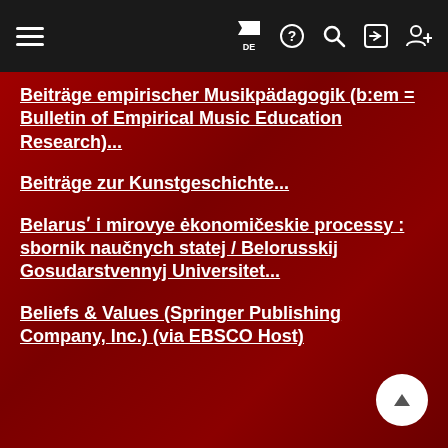Navigation header with hamburger menu, flag (DE), help, search, login, and user icons
Beiträge empirischer Musikpädagogik (b:em = Bulletin of Empirical Music Education Research)...
Beiträge zur Kunstgeschichte...
Belarus&#697; i mirovye &#279;konomi&#269;eskie processy : sbornik nau&#269;nych statej / Belorusskij Gosudarstvennyj Universitet...
Beliefs & Values (Springer Publishing Company, Inc.) (via EBSCO Host)